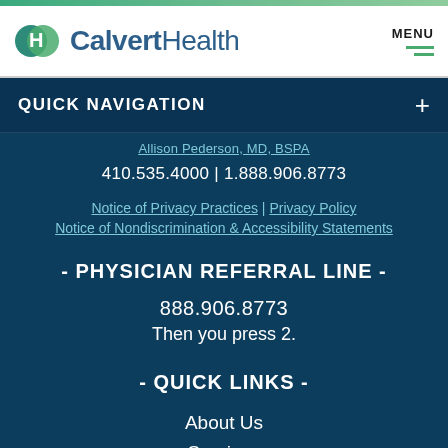[Figure (logo): CalvertHealth logo with teal/green overlapping circles icon and CalvertHealth text in blue/navy]
QUICK NAVIGATION
410.535.4000 | 1.888.906.8773
Notice of Privacy Practices | Privacy Policy
Notice of Nondiscrimination & Accessibility Statements
- PHYSICIAN REFERRAL LINE -
888.906.8773
Then you press 2.
- QUICK LINKS -
About Us
Services